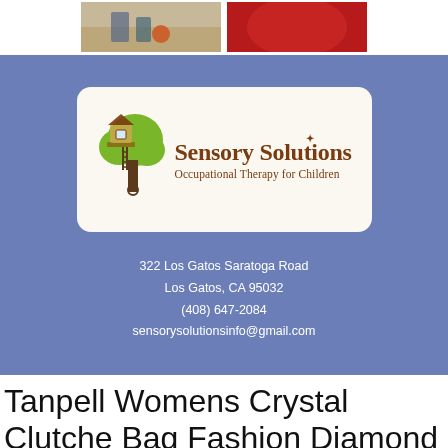[Figure (photo): Two partial photos at top: left shows children's feet with a ball on a floor, right shows a red blurry background, likely a therapy-related image.]
[Figure (logo): Sensory Solutions logo: green tree with treehouse on the left and brown text reading 'Sensory Solutions' with subtitle 'Occupational Therapy for Children' on a cream rounded-rectangle background, set against a steel blue background.]
322 Los Gatos Saratoga Road
Los Gatos, CA 95032
(408) 647-2084
sensorysolutionsinfo@gmail.com
Tanpell Womens Crystal Clutche Bag Fashion Diamond Evening Party Bag